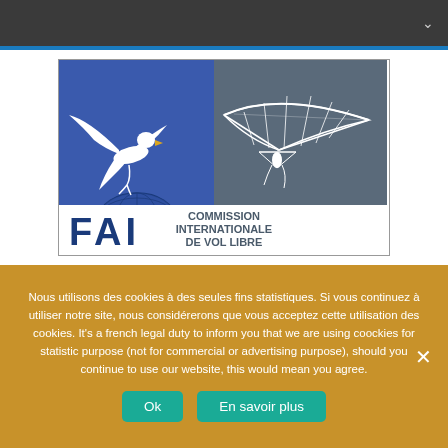Navigation bar with dropdown chevron
[Figure (logo): FAI Commission Internationale de Vol Libre logo: white eagle on blue globe on left panel, hang glider silhouette on gray right panel, with text FAI COMMISSION INTERNATIONALE DE VOL LIBRE]
Nous utilisons des cookies à des seules fins statistiques. Si vous continuez à utiliser notre site, nous considérerons que vous acceptez cette utilisation des cookies. It's a french legal duty to inform you that we are using coockies for statistic purpose (not for commercial or advertising purpose), should you continue to use our website, this would mean you agree.
Ok
En savoir plus